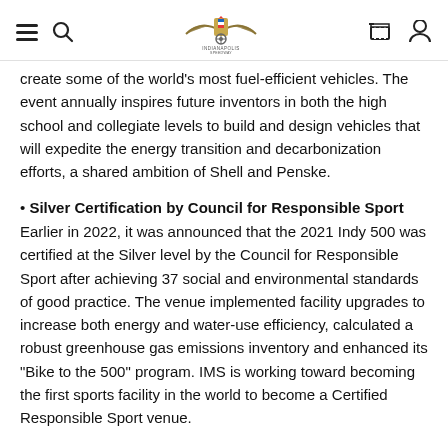[Indianapolis Motor Speedway logo with navigation icons]
create some of the world's most fuel-efficient vehicles. The event annually inspires future inventors in both the high school and collegiate levels to build and design vehicles that will expedite the energy transition and decarbonization efforts, a shared ambition of Shell and Penske.
• Silver Certification by Council for Responsible Sport
Earlier in 2022, it was announced that the 2021 Indy 500 was certified at the Silver level by the Council for Responsible Sport after achieving 37 social and environmental standards of good practice. The venue implemented facility upgrades to increase both energy and water-use efficiency, calculated a robust greenhouse gas emissions inventory and enhanced its "Bike to the 500" program. IMS is working toward becoming the first sports facility in the world to become a Certified Responsible Sport venue.
• Penske Truck Leasing and Shell Recharge Solutions North America